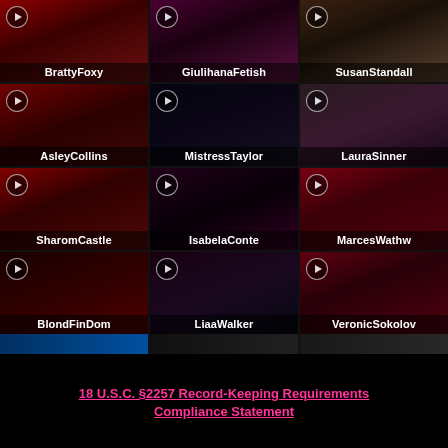[Figure (screenshot): 3x4 grid of video thumbnails showing performer names: BrattyFoxy, GiulihanaFetish, SusanStandall, AsleyCollins, MistressTaylor, LauraSinner, SharomCastle, IsabelaConte, MarcesWathw, BlondFinDom, LiaaWalker, VeronicSokolov]
18 U.S.C. §2257 Record-Keeping Requirements Compliance Statement